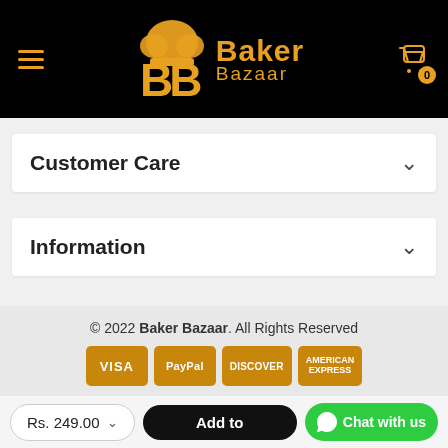[Figure (logo): Baker Bazaar logo with orange chef hat, orange BB letters, and orange Baker Bazaar text on black background header with hamburger menu and cart icon]
Customer Care
Information
© 2022 Baker Bazaar. All Rights Reserved
[Figure (other): Payment icons: VISA, PayPal, DISCOVER, AMERICAN EXPRESS]
Rs. 249.00
Add to
Chat with us